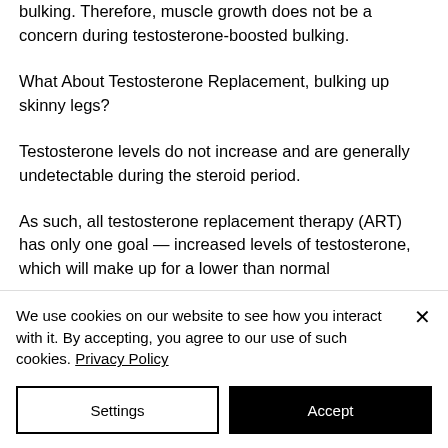bulking. Therefore, muscle growth does not be a concern during testosterone-boosted bulking.
What About Testosterone Replacement, bulking up skinny legs?
Testosterone levels do not increase and are generally undetectable during the steroid period.
As such, all testosterone replacement therapy (ART) has only one goal — increased levels of testosterone, which will make up for a lower than normal
We use cookies on our website to see how you interact with it. By accepting, you agree to our use of such cookies. Privacy Policy
Settings
Accept